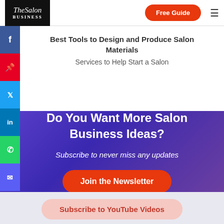The Salon Business | Free Guide
Best Tools to Design and Produce Salon Materials
Services to Help Start a Salon
Do You Want More Salon Business Ideas?
Subscribe to never miss any updates
Join the Newsletter
Subscribe to YouTube Videos